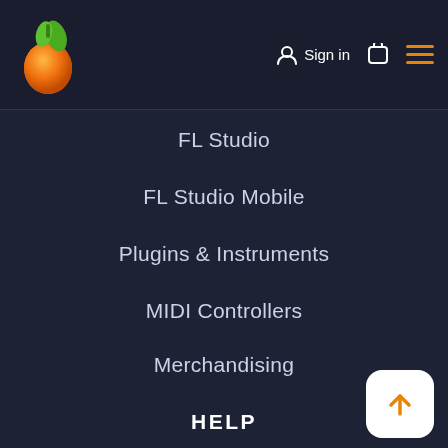FL Studio logo, Sign in, cart, menu
FL Studio
FL Studio Mobile
Plugins & Instruments
MIDI Controllers
Merchandising
HELP
Support & FAQ
Learning